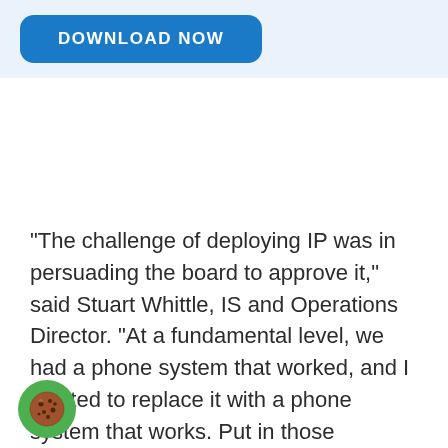[Figure (other): Blue rounded rectangle button with white text reading DOWNLOAD NOW]
“The challenge of deploying IP was in persuading the board to approve it,” said Stuart Whittle, IS and Operations Director. “At a fundamental level, we had a phone system that worked, and I wanted to replace it with a phone system that works. Put in those
[Figure (illustration): Green circle cookie consent icon with cookie/biscuit graphic]